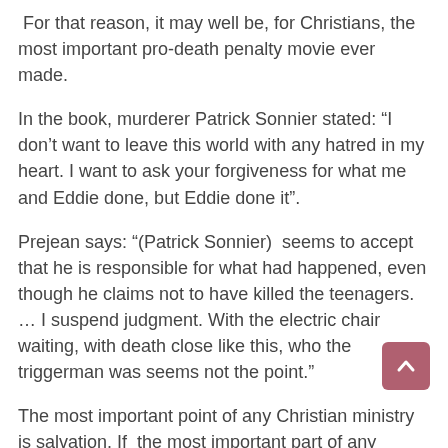For that reason, it may well be, for Christians, the most important pro-death penalty movie ever made.
In the book, murderer Patrick Sonnier stated: “I don’t want to leave this world with any hatred in my heart. I want to ask your forgiveness for what me and Eddie done, but Eddie done it”.
Prejean says: “(Patrick Sonnier)  seems to accept that he is responsible for what had happened, even though he claims not to have killed the teenagers. … I suspend judgment. With the electric chair waiting, with death close like this, who the triggerman was seems not the point.”
The most important point of any Christian ministry is salvation. If  the most important part of any Christian ministry is saving souls, and Sonnier is lying, and redemption is undermined, that seems a very important point.  What could be a more important point for a death row ministry? Ending the death penalty?
In the movie, murderer Matthew Poncelet repeats the final